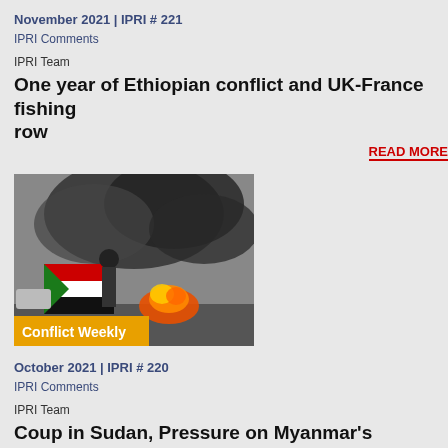November 2021 | IPRI # 221
IPRI Comments
IPRI Team
One year of Ethiopian conflict and UK-France fishing row
READ MORE
[Figure (photo): Person holding a Sudanese flag in front of burning tires and smoke in a street scene. An orange badge reads 'Conflict Weekly'.]
October 2021 | IPRI # 220
IPRI Comments
IPRI Team
Coup in Sudan, Pressure on Myanmar's military